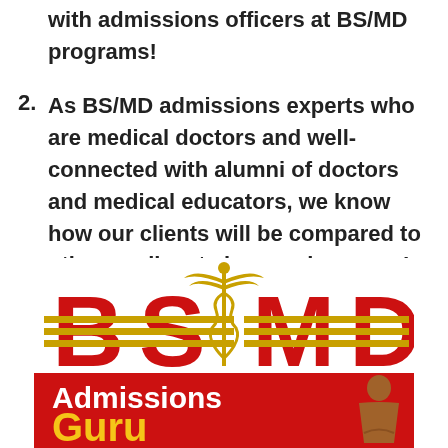with admissions officers at BS/MD programs!
As BS/MD admissions experts who are medical doctors and well-connected with alumni of doctors and medical educators, we know how our clients will be compared to other applicants in any given year!
[Figure (logo): BS/MD Admissions Guru logo with red bold letters BS and MD, a gold caduceus symbol in the center, gold horizontal stripes across the letters, a red banner below reading 'Admissions' in white and 'GURU' in gold/yellow, and a bronze meditating figure on the right]